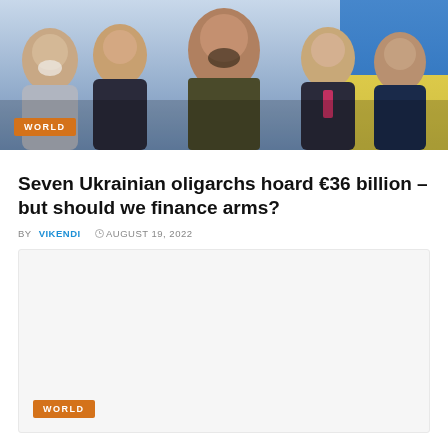[Figure (photo): Group photo of five men including Ukrainian President Zelensky in military attire and four oligarchs in suits, posed against a Ukrainian flag background. Orange 'WORLD' badge in lower left corner.]
Seven Ukrainian oligarchs hoard €36 billion – but should we finance arms?
BY VIKENDI  © AUGUST 19, 2022
[Figure (photo): A light gray placeholder card preview area with an orange 'WORLD' badge in the lower left corner.]